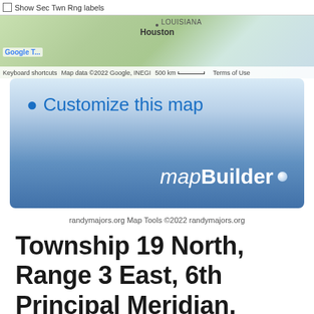[Figure (screenshot): Google Maps screenshot showing southern US region with Houston labeled, Louisiana visible, map toolbar with checkbox for 'Show Sec Twn Rng labels']
[Figure (screenshot): mapBuilder banner with 'Customize this map' heading in blue and 'mapBuilder' branding in white italic/bold text on blue gradient background]
randymajors.org Map Tools ©2022 randymajors.org
Township 19 North, Range 3 East, 6th Principal Meridian, Nebraska
View Township 19 North, Range 3 East, 6th Principal Meridian, Nebraska Section